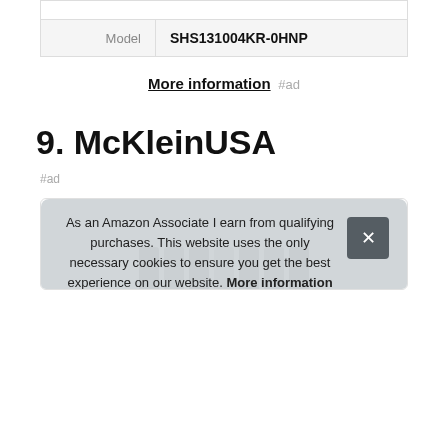|  |  |
| --- | --- |
|  |  |
| Model | SHS131004KR-0HNP |
More information #ad
9. McKleinUSA
#ad
[Figure (other): Product card box with image of cables/cords at bottom]
As an Amazon Associate I earn from qualifying purchases. This website uses the only necessary cookies to ensure you get the best experience on our website. More information